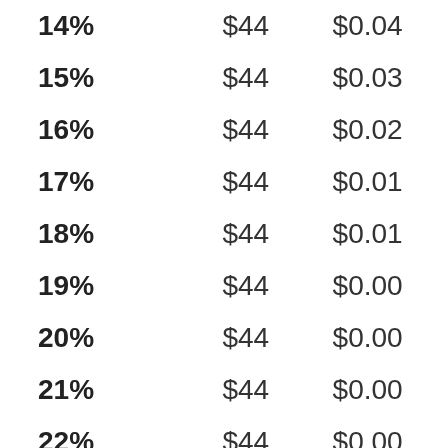| 14% | $44 | $0.04 |
| 15% | $44 | $0.03 |
| 16% | $44 | $0.02 |
| 17% | $44 | $0.01 |
| 18% | $44 | $0.01 |
| 19% | $44 | $0.00 |
| 20% | $44 | $0.00 |
| 21% | $44 | $0.00 |
| 22% | $44 | $0.00 |
| 23% | $44 | $0.00 |
| 24% | $44 | $0.00 |